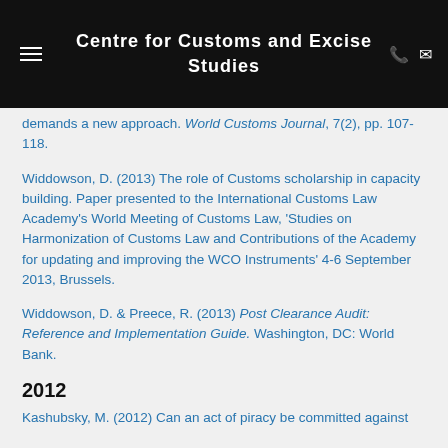Centre for Customs and Excise Studies
demands a new approach. World Customs Journal, 7(2), pp. 107-118.
Widdowson, D. (2013) The role of Customs scholarship in capacity building. Paper presented to the International Customs Law Academy's World Meeting of Customs Law, 'Studies on Harmonization of Customs Law and Contributions of the Academy for updating and improving the WCO Instruments' 4-6 September 2013, Brussels.
Widdowson, D. & Preece, R. (2013) Post Clearance Audit: Reference and Implementation Guide. Washington, DC: World Bank.
2012
Kashubsky, M. (2012) Can an act of piracy be committed against